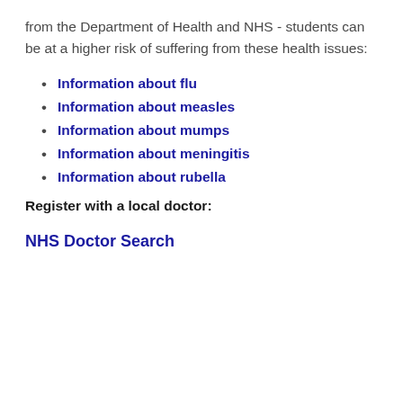from the Department of Health and NHS - students can be at a higher risk of suffering from these health issues:
Information about flu
Information about measles
Information about mumps
Information about meningitis
Information about rubella
Register with a local doctor:
NHS Doctor Search